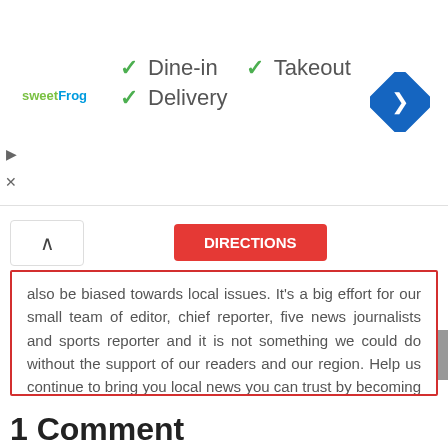[Figure (screenshot): sweetFrog logo with checkmarks for Dine-in, Takeout, Delivery and a blue diamond navigation icon]
also be biased towards local issues. It's a big effort for our small team of editor, chief reporter, five news journalists and sports reporter and it is not something we could do without the support of our readers and our region. Help us continue to bring you local news you can trust by becoming a supporter.
Become a supporter
1 Comment